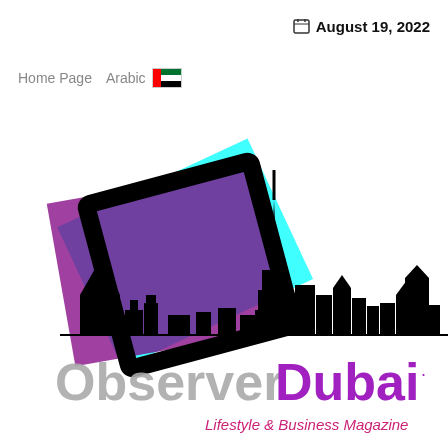August 19, 2022
Home Page   Arabic 🇦🇪
[Figure (logo): Observer Dubai magazine logo with geometric diamond shapes in cyan, purple, and black overlapping, Dubai skyline silhouette in black, text 'Observer Dubai' with 'Observer' in gray and 'Dubai' in purple, subtitle 'Lifestyle & Business Magazine' in purple/red]